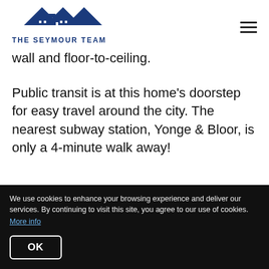[Figure (logo): The Seymour Team logo with house/roof icon in navy blue and text 'THE SEYMOUR TEAM' below]
wall and floor-to-ceiling.
Public transit is at this home's doorstep for easy travel around the city. The nearest subway station, Yonge & Bloor, is only a 4-minute walk away!
This fantastic suite is move-in ready and is perfect
We use cookies to enhance your browsing experience and deliver our services. By continuing to visit this site, you agree to our use of cookies. More info
OK